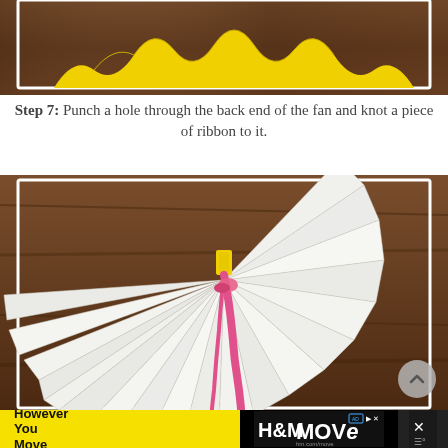[Figure (photo): Top portion of a yellow paper fan craft on a wooden surface, showing the zigzag folded yellow paper edges.]
Step 7: Punch a hole through the back end of the fan and knot a piece of ribbon to it.
[Figure (photo): A large white paper fan fully opened in a circle on a wooden surface, with a yellow paper clip and pink ribbon knotted through the back end center.]
[Figure (other): Advertisement banner: 'However You Move' text on yellow background with H&M MOVE logo on dark background. hm.com/move URL shown.]